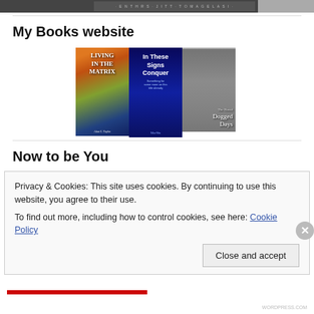[Figure (photo): Top strip showing a partial book cover image with stylized text on a dark background]
My Books website
[Figure (photo): Three book covers displayed side by side: 'Living in the Matrix', 'In These Signs Conquer', and 'Dogged Days']
Now to be You
Privacy & Cookies: This site uses cookies. By continuing to use this website, you agree to their use.
To find out more, including how to control cookies, see here: Cookie Policy
Close and accept